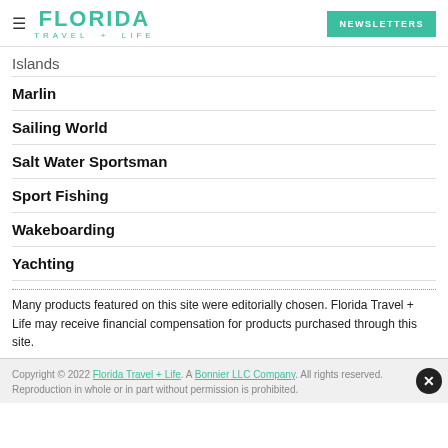FLORIDA TRAVEL + LIFE | NEWSLETTERS
Islands
Marlin
Sailing World
Salt Water Sportsman
Sport Fishing
Wakeboarding
Yachting
Many products featured on this site were editorially chosen. Florida Travel + Life may receive financial compensation for products purchased through this site.
Copyright © 2022 Florida Travel + Life. A Bonnier LLC Company. All rights reserved. Reproduction in whole or in part without permission is prohibited.